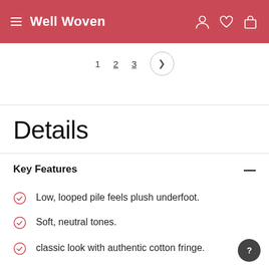Well Woven
[Figure (screenshot): Pagination controls showing page numbers 1, 2, 3 and a next arrow button]
Details
Key Features
Low, looped pile feels plush underfoot.
Soft, neutral tones.
classic look with authentic cotton fringe.